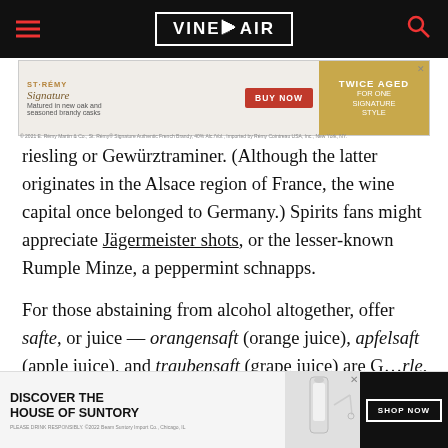VINEPAIR
[Figure (screenshot): St-Rémy Signature brandy advertisement: 'Matured in new oak and seasoned brandy casks — BUY NOW — TWICE AGED FOR ONE SIGNATURE STYLE']
Riesling or Gewürztraminer. (Although the latter originates in the Alsace region of France, the wine capital once belonged to Germany.) Spirits fans might appreciate Jägermeister shots, or the lesser-known Rumple Minze, a peppermint schnapps.
For those abstaining from alcohol altogether, offer safte, or juice — orangensaft (orange juice), apfelsaft (apple juice), and traubensaft (grape juice) are G…rle, a mixtu…
[Figure (screenshot): Suntory House advertisement: 'DISCOVER THE HOUSE OF SUNTORY — SHOP NOW']